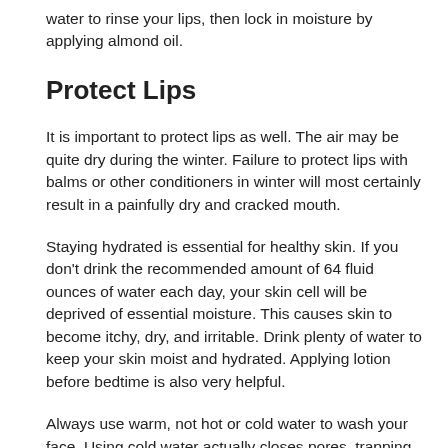water to rinse your lips, then lock in moisture by applying almond oil.
Protect Lips
It is important to protect lips as well. The air may be quite dry during the winter. Failure to protect lips with balms or other conditioners in winter will most certainly result in a painfully dry and cracked mouth.
Staying hydrated is essential for healthy skin. If you don't drink the recommended amount of 64 fluid ounces of water each day, your skin cell will be deprived of essential moisture. This causes skin to become itchy, dry, and irritable. Drink plenty of water to keep your skin moist and hydrated. Applying lotion before bedtime is also very helpful.
Always use warm, not hot or cold water to wash your face. Using cold water actually closes pores, trapping bacteria and dirt within. Too hot, and your skin will become dehydrated, red, and itchy. As long as you aim for middle temperatures, your skin will look great.
By applying the tips found here, you will soon have the type of skin that you have always dreamed of. This will make you look good on the outside and you will feel better within.